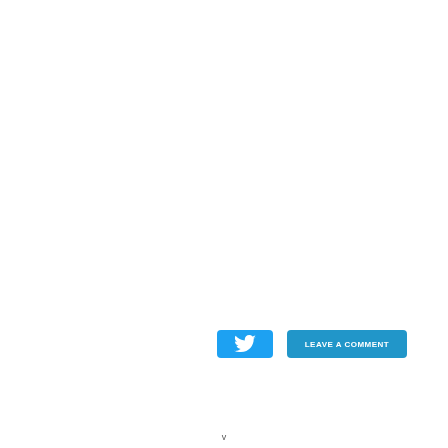[Figure (screenshot): Twitter share button (blue with bird icon) and 'LEAVE A COMMENT' button (blue), positioned in the lower-center area of an otherwise blank white page]
v